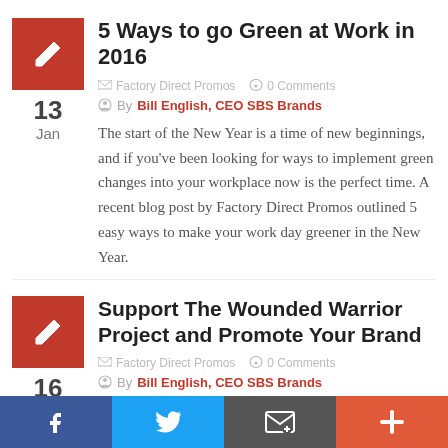5 Ways to go Green at Work in 2016
Factory Direct Promos   0 Comments
By Bill English, CEO SBS Brands
The start of the New Year is a time of new beginnings, and if you’ve been looking for ways to implement green changes into your workplace now is the perfect time. A recent blog post by Factory Direct Promos outlined 5 easy ways to make your work day greener in the New Year.
Support The Wounded Warrior Project and Promote Your Brand
Factory Direct Promos   0 Comments
By Bill English, CEO SBS Brands
Through the end of the year our daughter brand, Factory Direct Promos, if offering a special on select customizable
f   Twitter   Email   +